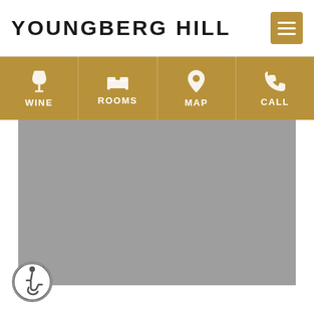YOUNGBERG HILL
[Figure (screenshot): Navigation bar with icons and labels: WINE, ROOMS, MAP, CALL on a gold/tan background]
[Figure (map): Gray placeholder map area]
[Figure (other): Accessibility (wheelchair) icon badge in bottom left corner]